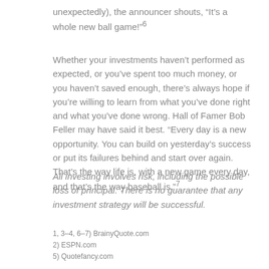unexpectedly), the announcer shouts, “It’s a whole new ball game!”⁶
Whether your investments haven’t performed as expected, or you’ve spent too much money, or you haven’t saved enough, there’s always hope if you’re willing to learn from what you’ve done right and what you’ve done wrong. Hall of Famer Bob Feller may have said it best. “Every day is a new opportunity. You can build on yesterday’s success or put its failures behind and start over again. That’s the way life is, with a new game every day, and that’s the way baseball is.”⁷
All investing involves risk, including the possible loss of principal. There is no guarantee that any investment strategy will be successful.
1, 3–4, 6–7) BrainyQuote.com
2) ESPN.com
5) Quotefancy.com